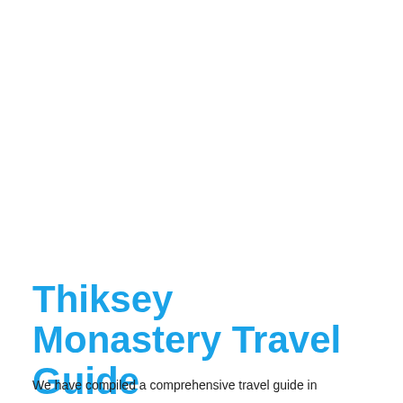Thiksey Monastery Travel Guide
We have compiled a comprehensive travel guide in